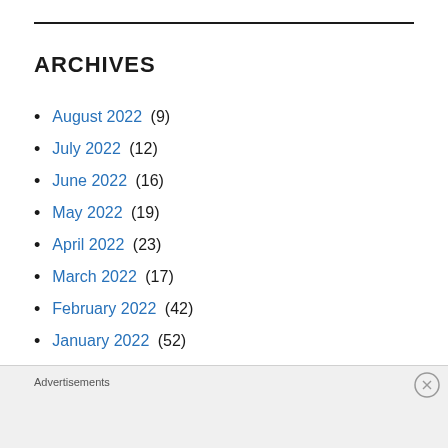ARCHIVES
August 2022 (9)
July 2022 (12)
June 2022 (16)
May 2022 (19)
April 2022 (23)
March 2022 (17)
February 2022 (42)
January 2022 (52)
December 2021 (55)
November 2021 (55)
Advertisements